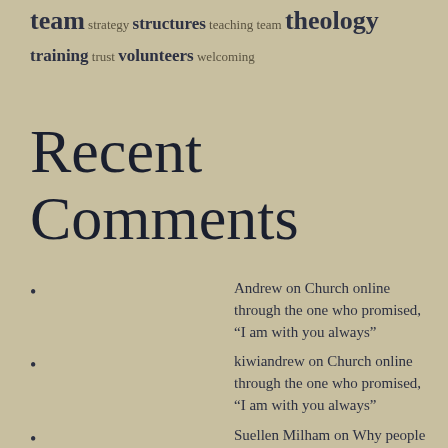team strategy structures teaching team theology training trust volunteers welcoming
Recent Comments
Andrew on Church online through the one who promised, “I am with you always”
kiwiandrew on Church online through the one who promised, “I am with you always”
Suellen Milham on Why people won’t watch your ‘online church’…
Steve on The price Jesus paid does not mean you’re worth that much to God.